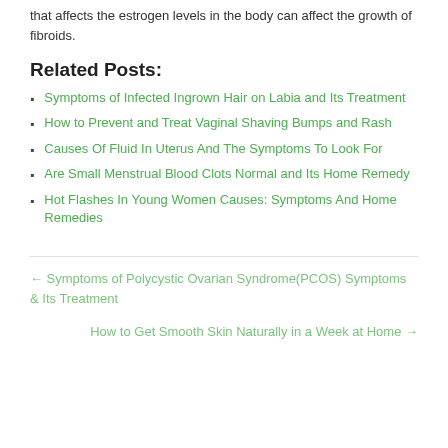that affects the estrogen levels in the body can affect the growth of fibroids.
Related Posts:
Symptoms of Infected Ingrown Hair on Labia and Its Treatment
How to Prevent and Treat Vaginal Shaving Bumps and Rash
Causes Of Fluid In Uterus And The Symptoms To Look For
Are Small Menstrual Blood Clots Normal and Its Home Remedy
Hot Flashes In Young Women Causes: Symptoms And Home Remedies
← Symptoms of Polycystic Ovarian Syndrome(PCOS) Symptoms & Its Treatment
How to Get Smooth Skin Naturally in a Week at Home →